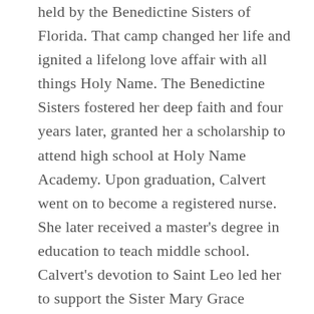held by the Benedictine Sisters of Florida. That camp changed her life and ignited a lifelong love affair with all things Holy Name. The Benedictine Sisters fostered her deep faith and four years later, granted her a scholarship to attend high school at Holy Name Academy. Upon graduation, Calvert went on to become a registered nurse. She later received a master's degree in education to teach middle school. Calvert's devotion to Saint Leo led her to support the Sister Mary Grace Riddles Endowed Scholarship, and she also continues to annually donate to the Benedictine Sisters of Florida. Calvert fondly remembers the nuns, priests, and friends that she made and who made such an impact on her life. She especially loved the dances that were held at the Saint Leo College Preparatory School each month.